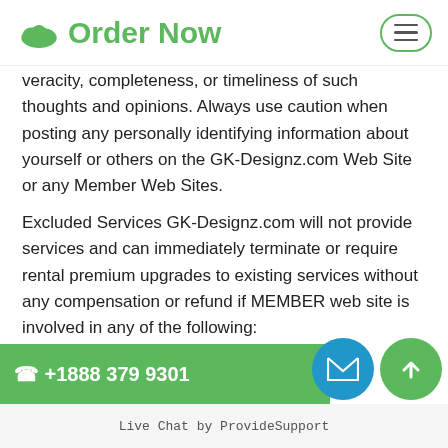Order Now
veracity, completeness, or timeliness of such thoughts and opinions. Always use caution when posting any personally identifying information about yourself or others on the GK-Designz.com Web Site or any Member Web Sites.
Excluded Services GK-Designz.com will not provide services and can immediately terminate or require rental premium upgrades to existing services without any compensation or refund if MEMBER web site is involved in any of the following:
- Pirated software or ... the site owner does not...
- Gambling/Casino sites.
+1888 379 9301
Live Chat by ProvideSupport